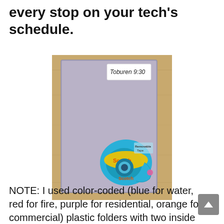every stop on your tech's schedule.
[Figure (photo): A purple plastic folder with a handwritten label 'Toburen 9:30' on a white sticky note at top right, resting on a wooden surface. A Scotch Removable Tape dispenser (blue) is placed on the lower portion of the folder.]
NOTE:  I used color-coded (blue for water, red for fire, purple for residential, orange for commercial) plastic folders with two inside